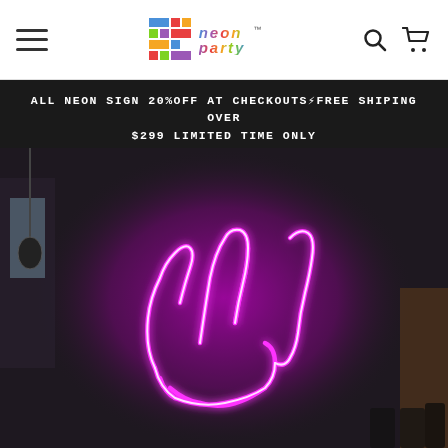Neon Party — navigation header with hamburger menu, logo, search and cart icons
ALL NEON SIGN 20%OFF AT CHECKOUTS FREE SHIPING OVER $299 LIMITED TIME ONLY
Fast delivery within 2-3 weeks
[Figure (photo): A glowing bright pink/magenta neon sign on a dark grey wall depicting an abstract hand or figure shape. The neon light creates a vibrant purple glow on the surrounding dark concrete wall. Room interior visible with pendant lamp and stacked firewood on the right.]